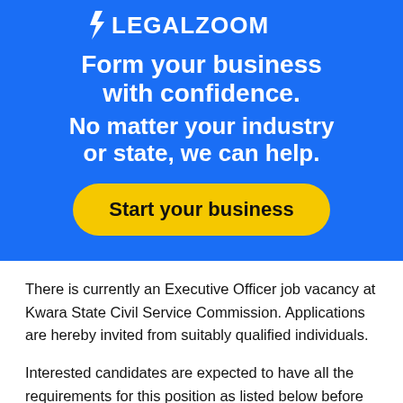[Figure (logo): LegalZoom advertisement banner with blue background. Logo at top, headline 'Form your business with confidence. No matter your industry or state, we can help.' and a yellow 'Start your business' CTA button.]
There is currently an Executive Officer job vacancy at Kwara State Civil Service Commission. Applications are hereby invited from suitably qualified individuals.
Interested candidates are expected to have all the requirements for this position as listed below before